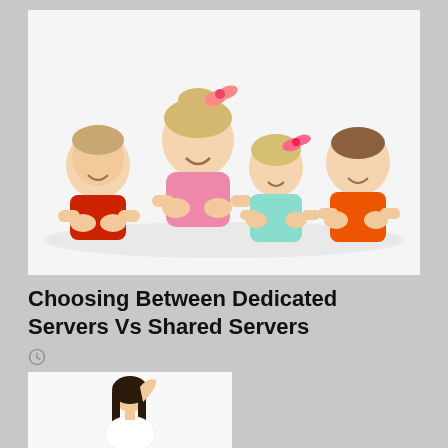[Figure (photo): Four smiling children lying on the floor looking at the camera. From left: a boy in a red shirt, a girl in pink with a pink bow, a smaller girl in light blue with a pink bow, and a boy in an orange shirt. White background.]
Choosing Between Dedicated Servers Vs Shared Servers
[Figure (photo): A woman with long dark hair, holding her hair with one hand, wearing a white top, on a white background.]